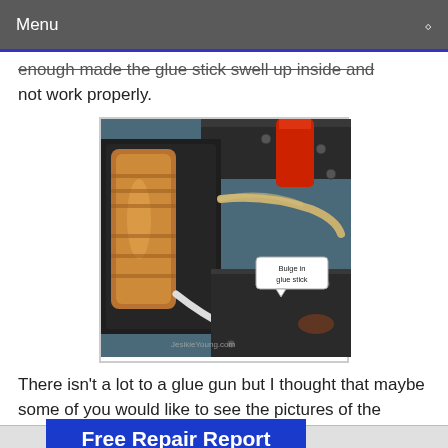Menu
enough made the glue stick swell up inside and not work properly.
[Figure (photo): Disassembled glue gun interior showing brass/copper heating element, red glue stick, white tubing/cable, and a callout label reading 'Bulge in glue stick'. Watermark: JesikieYoung.com]
There isn't a lot to a glue gun but I thought that maybe some of you would like to see the pictures of the insides of one in case you have not take
[Figure (infographic): Blue advertisement banner reading 'Free Repair Report' with green text 'Click Here Now']